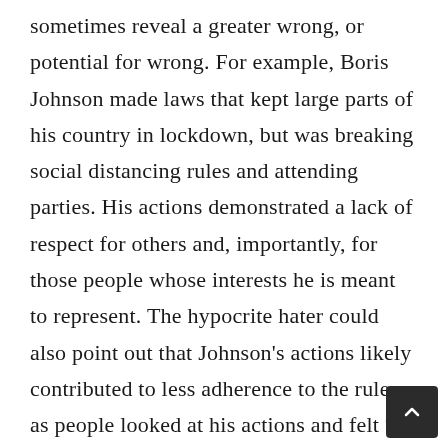sometimes reveal a greater wrong, or potential for wrong. For example, Boris Johnson made laws that kept large parts of his country in lockdown, but was breaking social distancing rules and attending parties. His actions demonstrated a lack of respect for others and, importantly, for those people whose interests he is meant to represent. The hypocrite hater could also point out that Johnson's actions likely contributed to less adherence to the rules as people looked at his actions and felt "if he gets to do that, why shouldn't I?". However,